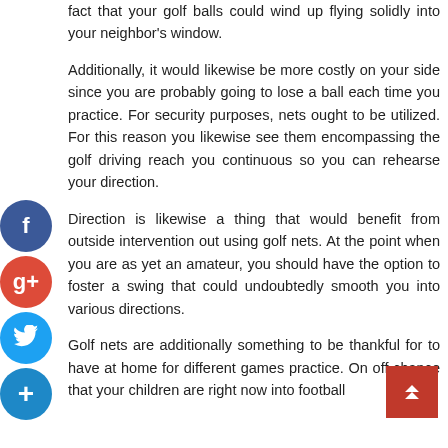fact that your golf balls could wind up flying solidly into your neighbor's window.
Additionally, it would likewise be more costly on your side since you are probably going to lose a ball each time you practice. For security purposes, nets ought to be utilized. For this reason you likewise see them encompassing the golf driving reach you continuous so you can rehearse your direction.
Direction is likewise a thing that would benefit from outside intervention out using golf nets. At the point when you are as yet an amateur, you should have the option to foster a swing that could undoubtedly smooth you into various directions.
Golf nets are additionally something to be thankful for to have at home for different games practice. On off chance that your children are right now into football or they are into tennis or golf nets could likewise assist it